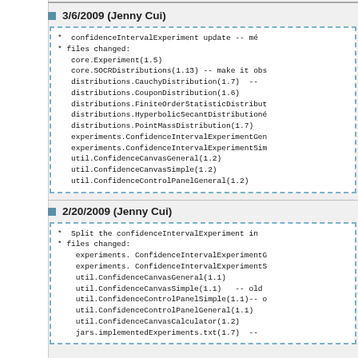3/6/2009 (Jenny Cui)
* confidenceIntervalExperiment update -- ma
* files changed:
  core.Experiment(1.5)
  core.SOCRDistributions(1.13) -- make it obs
  distributions.CauchyDistribution(1.7)  --
  distributions.CouponDistribution(1.6)
  distributions.FiniteOrderStatisticDistribu
  distributions.HyperbolicSecantDistribution
  distributions.PointMassDistribution(1.7)
  experiments.ConfidenceIntervalExperimentGe
  experiments.ConfidenceIntervalExperimentSi
  util.ConfidenceCanvasGeneral(1.2)
  util.ConfidenceCanvasSimple(1.2)
  util.ConfidenceControlPanelGeneral(1.2)
2/20/2009 (Jenny Cui)
* Split the confidenceIntervalExperiment i
* files changed:
    experiments. ConfidenceIntervalExperimentG
    experiments. ConfidenceIntervalExperimentS
    util.ConfidenceCanvasGeneral(1.1)
    util.ConfidenceCanvasSimple(1.1)   -- old
    util.ConfidenceControlPanelSimple(1.1)-- o
    util.ConfidenceControlPanelGeneral(1.1)
    util.ConfidenceCanvasCalculator(1.2)
    jars.implementedExperiments.txt(1.7)  --